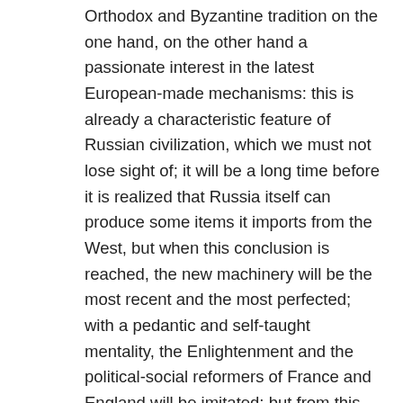Orthodox and Byzantine tradition on the one hand, on the other hand a passionate interest in the latest European-made mechanisms: this is already a characteristic feature of Russian civilization, which we must not lose sight of; it will be a long time before it is realized that Russia itself can produce some items it imports from the West, but when this conclusion is reached, the new machinery will be the most recent and the most perfected; with a pedantic and self-taught mentality, the Enlightenment and the political-social reformers of France and England will be imitated; but from this contrast between a primitive, virgin, boundless world and the latest Western thought, a daring willing to sacrifice will also arise, a will to reach the goal without worrying about leaps into the unknown, an intensity of feelings and an originality of problems which will then find its most evident expression in the course of the 19th century.
Already in the activity carried out by the executioner